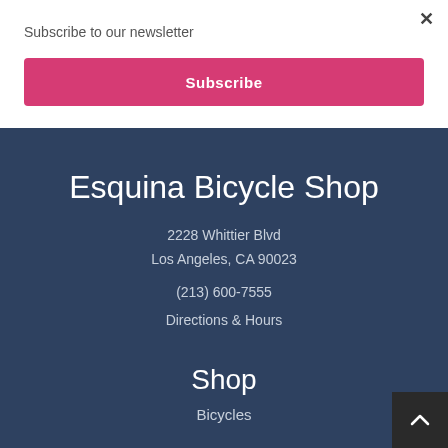Subscribe to our newsletter
Subscribe
Esquina Bicycle Shop
2228 Whittier Blvd
Los Angeles, CA 90023
(213) 600-7555
Directions & Hours
Shop
Bicycles